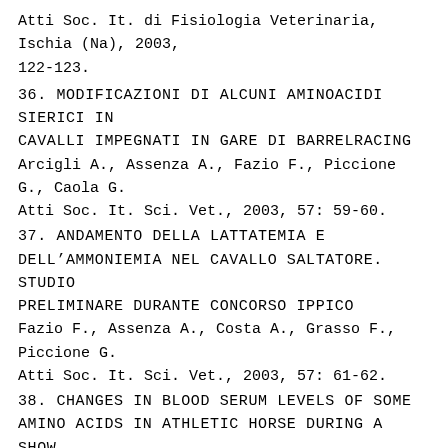Atti Soc. It. di Fisiologia Veterinaria, Ischia (Na), 2003, 122-123.
36. MODIFICAZIONI DI ALCUNI AMINOACIDI SIERICI IN CAVALLI IMPEGNATI IN GARE DI BARRELRACING
Arcigli A., Assenza A., Fazio F., Piccione G., Caola G.
Atti Soc. It. Sci. Vet., 2003, 57: 59-60.
37. ANDAMENTO DELLA LATTATEMIA E DELL’AMMONIEMIA NEL CAVALLO SALTATORE. STUDIO PRELIMINARE DURANTE CONCORSO IPPICO
Fazio F., Assenza A., Costa A., Grasso F., Piccione G.
Atti Soc. It. Sci. Vet., 2003, 57: 61-62.
38. CHANGES IN BLOOD SERUM LEVELS OF SOME AMINO ACIDS IN ATHLETIC HORSE DURING A SHOW JUMPING
Arcigli A., Assenza A., Fazio F., Piccione G., Caola G.
8thCongr of the World Equine Veter. Association, Buenos Aires, Argentina,15-17 ottobre 2003, 113.
39. L’EQUILIBRIO ACIDO-BASE NEL CAVALLO SALTATORE: AGGIUSTAMENTI DURANTE PROVA DI